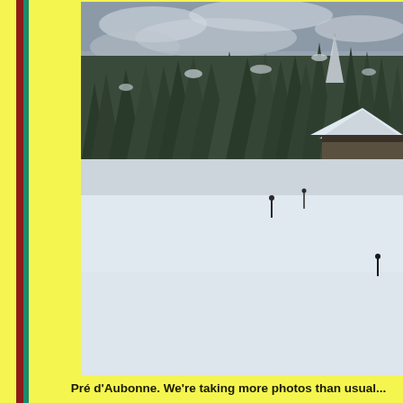[Figure (photo): Winter landscape photo showing a snow-covered field with a chalet/barn building on the right side and dense snow-covered conifer forest in the background under an overcast sky. Small figures (cross-country skiers) are visible in the snow field.]
Pré d'Aubonne. We're taking more photos than usual...